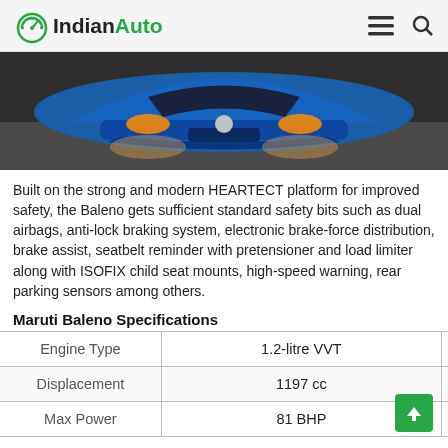IndianAuto
[Figure (photo): Front view of a blue car (Maruti Baleno) on a road, shot from low angle showing the front bumper and headlights]
Built on the strong and modern HEARTECT platform for improved safety, the Baleno gets sufficient standard safety bits such as dual airbags, anti-lock braking system, electronic brake-force distribution, brake assist, seatbelt reminder with pretensioner and load limiter along with ISOFIX child seat mounts, high-speed warning, rear parking sensors among others.
Maruti Baleno Specifications
| Engine Type | 1.2-litre VVT |
| --- | --- |
| Displacement | 1197 cc |
| Max Power | 81 BHP |